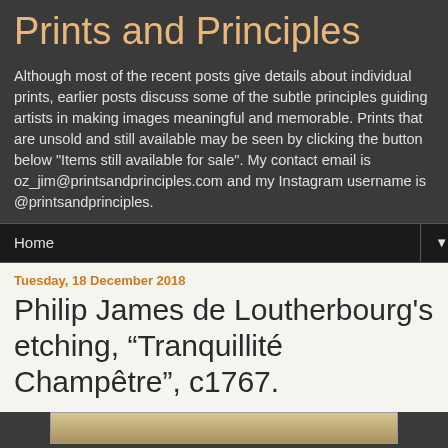Prints and Principles
Although most of the recent posts give details about individual prints, earlier posts discuss some of the subtle principles guiding artists in making images meaningful and memorable. Prints that are unsold and still available may be seen by clicking the button below "Items still available for sale". My contact email is oz_jim@printsandprinciples.com and my Instagram username is @printsandprinciples.
Home
Tuesday, 18 December 2018
Philip James de Loutherbourg's etching, “Tranquillité Champêtre”, c1767.
[Figure (photo): Partial view of an etching/print image at the bottom of the page]